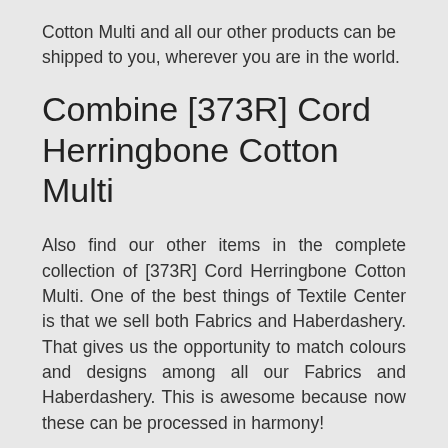Cotton Multi and all our other products can be shipped to you, wherever you are in the world.
Combine [373R] Cord Herringbone Cotton Multi
Also find our other items in the complete collection of [373R] Cord Herringbone Cotton Multi. One of the best things of Textile Center is that we sell both Fabrics and Haberdashery. That gives us the opportunity to match colours and designs among all our Fabrics and Haberdashery. This is awesome because now these can be processed in harmony!
Textile Center is your online wholesaler in Fabrics and Haberdashery
Textile Center is your high quality wholesaler in fashion Fabrics